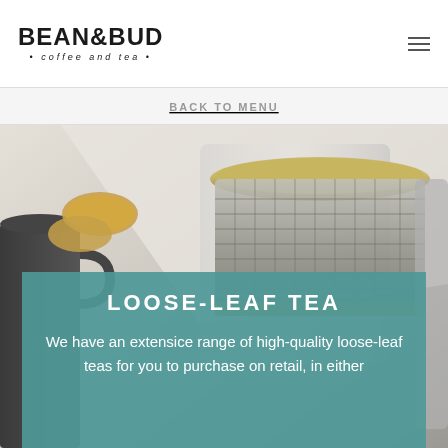[Figure (logo): Bean & Bud coffee and tea logo — bold uppercase text BEAN&BUD with subtitle '• coffee and tea •']
BACK TO MENU
[Figure (photo): Photo of loose-leaf tea brewing equipment: a metal mesh tea strainer/infuser over a glass vessel, with cookies visible in the background, on a light surface]
LOOSE-LEAF TEA
We have an extensice range of high-quality loose-leaf teas for you to purchase on retail, in either